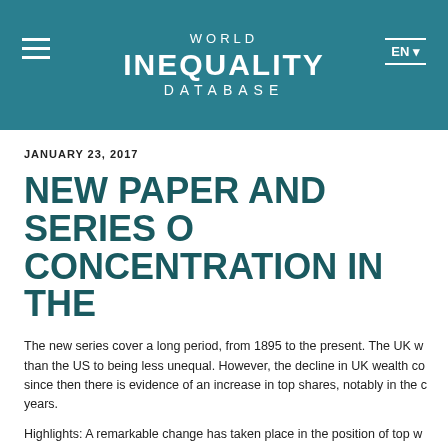WORLD INEQUALITY DATABASE
JANUARY 23, 2017
NEW PAPER AND SERIES C CONCENTRATION IN THE
The new series cover a long period, from 1895 to the present. The UK w than the US to being less unequal. However, the decline in UK wealth co since then there is evidence of an increase in top shares, notably in the c years.
Highlights: A remarkable change has taken place in the position of top w Before the First World War, the top 5 per cent of wealth holders owned There were very few owner-occupiers. A hundred years later, the share to own two-thirds of total wealth; their share is now around one fifth. T top 1 per cent have some 20 times their proportionate share.
Facundo Alvaredo, Anthony B. Atkinson, and Salvatore Morelli, Top we